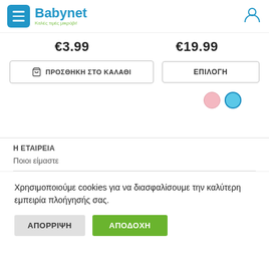Babynet — Καλές τιμές μικρόβι!
€3.99
€19.99
ΠΡΟΣΘΗΚΗ ΣΤΟ ΚΑΛΑΘΙ
ΕΠΙΛΟΓΗ
[Figure (illustration): Two color option circles: pink and blue, blue currently selected]
Η ΕΤΑΙΡΕΙΑ
Ποιοι είμαστε
Χρησιμοποιούμε cookies για να διασφαλίσουμε την καλύτερη εμπειρία πλοήγησής σας.
ΑΠΟΡΡΙΨΗ
ΑΠΟΔΟΧΗ